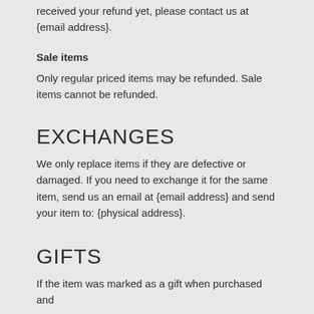received your refund yet, please contact us at {email address}.
Sale items
Only regular priced items may be refunded. Sale items cannot be refunded.
EXCHANGES
We only replace items if they are defective or damaged. If you need to exchange it for the same item, send us an email at {email address} and send your item to: {physical address}.
GIFTS
If the item was marked as a gift when purchased and